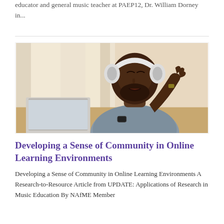educator and general music teacher at PAEP12, Dr. William Dorney in...
[Figure (photo): A Black man wearing white over-ear headphones sits at a desk with a laptop, gesturing with one hand raised, appearing to be engaged in an online video call or music session. Background shows light curtains and a bright indoor setting.]
Developing a Sense of Community in Online Learning Environments
Developing a Sense of Community in Online Learning Environments A Research-to-Resource Article from UPDATE: Applications of Research in Music Education By NAfME Member